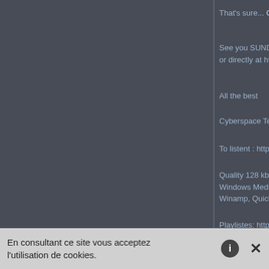That's sure... CYBERSPACE IS BACK !
See you SUNDAY 9:30pm on the tchat (NOW accessible or directly at http://cyberspace.allochat.fr )
All the best
Cyberspace Team
To listent : http://www.myspace.com/radiocyberspace
Quality 128 kbps - URL to enter directly in your player
Windows Media Player http://str2.creacast.com:870
Winamp, QuickTime & i Tunes : http://str2.creacast.com
Playlistes: http://cyberspace.alloforum.com/
INFO : http://www.cyberspace.eu.com
Rebroadcast on Tuesday morning (10am CET) and Thu
Edité le 13-10-2008 à 22:44:36 par Zen2003
Retour au forum
En consultant ce site vous acceptez l'utilisation de cookies.